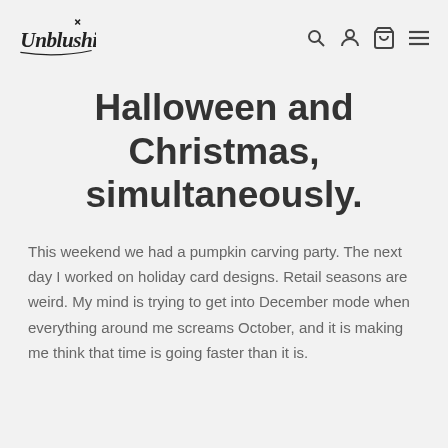Unblushing [logo] [search] [account] [cart] [menu]
Halloween and Christmas, simultaneously.
This weekend we had a pumpkin carving party. The next day I worked on holiday card designs. Retail seasons are weird. My mind is trying to get into December mode when everything around me screams October, and it is making me think that time is going faster than it is.